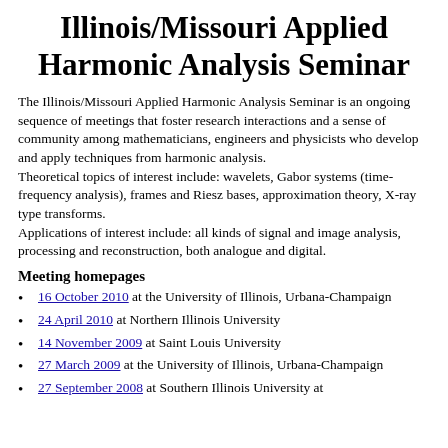Illinois/Missouri Applied Harmonic Analysis Seminar
The Illinois/Missouri Applied Harmonic Analysis Seminar is an ongoing sequence of meetings that foster research interactions and a sense of community among mathematicians, engineers and physicists who develop and apply techniques from harmonic analysis.
Theoretical topics of interest include: wavelets, Gabor systems (time-frequency analysis), frames and Riesz bases, approximation theory, X-ray type transforms.
Applications of interest include: all kinds of signal and image analysis, processing and reconstruction, both analogue and digital.
Meeting homepages
16 October 2010 at the University of Illinois, Urbana-Champaign
24 April 2010 at Northern Illinois University
14 November 2009 at Saint Louis University
27 March 2009 at the University of Illinois, Urbana-Champaign
27 September 2008 at Southern Illinois University at ...